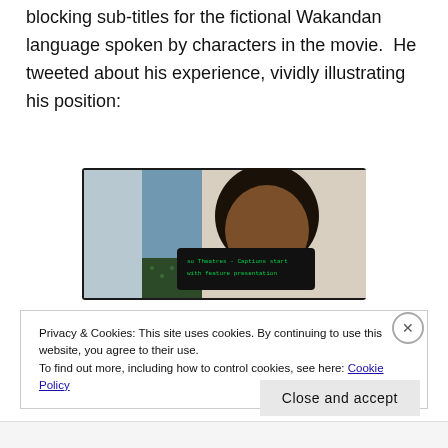blocking sub-titles for the fictional Wakandan language spoken by characters in the movie. He tweeted about his experience, vividly illustrating his position:
[Figure (photo): A screenshot of a movie or TV screen showing a person's face with a dark captioning device overlay displaying text about captions starting with feature presentation.]
Privacy & Cookies: This site uses cookies. By continuing to use this website, you agree to their use.
To find out more, including how to control cookies, see here: Cookie Policy